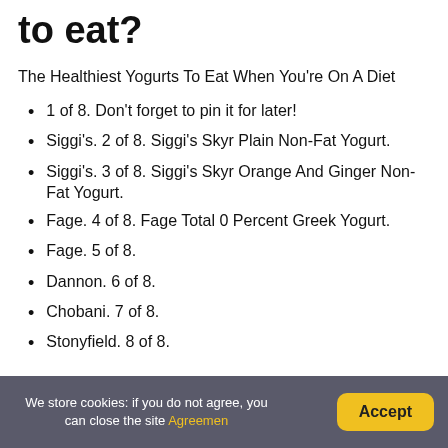to eat?
The Healthiest Yogurts To Eat When You're On A Diet
1 of 8. Don't forget to pin it for later!
Siggi's. 2 of 8. Siggi's Skyr Plain Non-Fat Yogurt.
Siggi's. 3 of 8. Siggi's Skyr Orange And Ginger Non-Fat Yogurt.
Fage. 4 of 8. Fage Total 0 Percent Greek Yogurt.
Fage. 5 of 8.
Dannon. 6 of 8.
Chobani. 7 of 8.
Stonyfield. 8 of 8.
Is lactose-free milk less
We store cookies: if you do not agree, you can close the site Agreemen  Accept